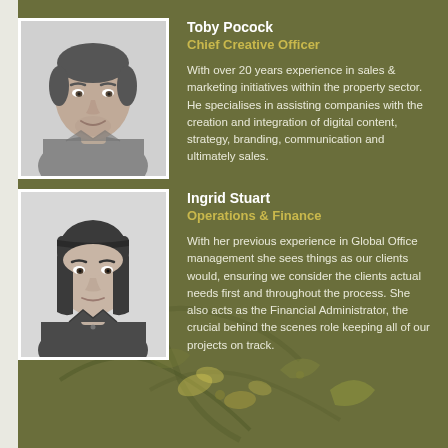[Figure (photo): Black and white headshot photo of Toby Pocock, a middle-aged man with short hair, smiling slightly]
Toby Pocock
Chief Creative Officer
With over 20 years experience in sales & marketing initiatives within the property sector. He specialises in assisting companies with the creation and integration of digital content, strategy, branding, communication and ultimately sales.
[Figure (photo): Black and white headshot photo of Ingrid Stuart, a woman with straight dark hair and bangs]
Ingrid Stuart
Operations & Finance
With her previous experience in Global Office management she sees things as our clients would, ensuring we consider the clients actual needs first and throughout the process. She also acts as the Financial Administrator, the crucial behind the scenes role keeping all of our projects on track.